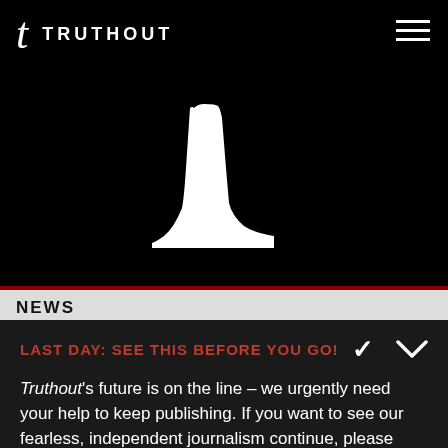t TRUTHOUT
[Figure (illustration): Black background hero image with a white boot/shoe silhouette centered, with a dark red bottom border]
NEWS
LAST DAY: SEE THIS BEFORE YOU GO!
Truthout's future is on the line – we urgently need your help to keep publishing. If you want to see our fearless, independent journalism continue, please start a $5 monthly donation.
DONATE
DONATE MONTHLY